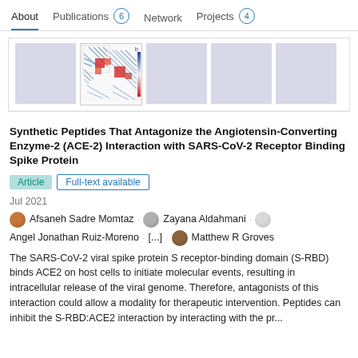About  Publications 6  Network  Projects 4
[Figure (other): Publication figures row: placeholder gray boxes and one heatmap/correlation matrix thumbnail with blue and red color pattern]
Synthetic Peptides That Antagonize the Angiotensin-Converting Enzyme-2 (ACE-2) Interaction with SARS-CoV-2 Receptor Binding Spike Protein
Article  Full-text available
Jul 2021
Afsaneh Sadre Momtaz · Zayana Aldahmani · Angel Jonathan Ruiz-Moreno · [...] · Matthew R Groves
The SARS-CoV-2 viral spike protein S receptor-binding domain (S-RBD) binds ACE2 on host cells to initiate molecular events, resulting in intracellular release of the viral genome. Therefore, antagonists of this interaction could allow a modality for therapeutic intervention. Peptides can inhibit the S-RBD:ACE2 interaction by interacting with the pr...